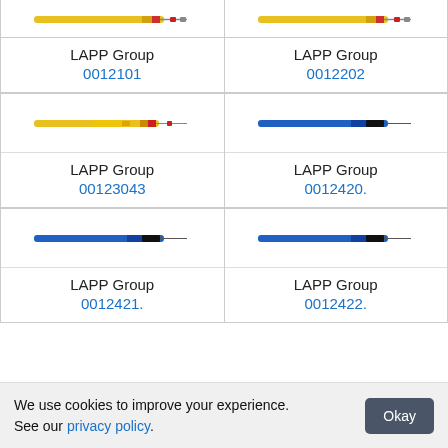[Figure (photo): Yellow/red cable image top-left (partial)]
[Figure (photo): Yellow/red cable image top-right (partial)]
LAPP Group
0012101
LAPP Group
0012202
[Figure (photo): Yellow striped cable image]
[Figure (photo): Blue/black cable image]
LAPP Group
00123043
LAPP Group
0012420.
[Figure (photo): Blue/black cable image]
[Figure (photo): Blue/black cable image]
LAPP Group
0012421.
LAPP Group
0012422.
We use cookies to improve your experience. See our privacy policy.